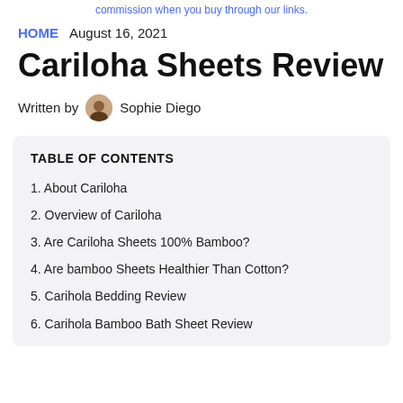commission when you buy through our links.
HOME   August 16, 2021
Cariloha Sheets Review
Written by  Sophie Diego
TABLE OF CONTENTS
1. About Cariloha
2. Overview of Cariloha
3. Are Cariloha Sheets 100% Bamboo?
4. Are bamboo Sheets Healthier Than Cotton?
5. Carihola Bedding Review
6. Carihola Bamboo Bath Sheet Review